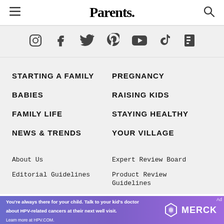Parents.
[Figure (infographic): Social media icons row: Instagram, Facebook, Twitter, Pinterest, YouTube, TikTok, Flipboard]
STARTING A FAMILY
PREGNANCY
BABIES
RAISING KIDS
FAMILY LIFE
STAYING HEALTHY
NEWS & TRENDS
YOUR VILLAGE
About Us
Expert Review Board
Editorial Guidelines
Product Review Guidelines
You're always there for your child. Talk to your kid's doctor about HPV-related cancers at their next well visit. Learn more at HPV.COM. MERCK Ad